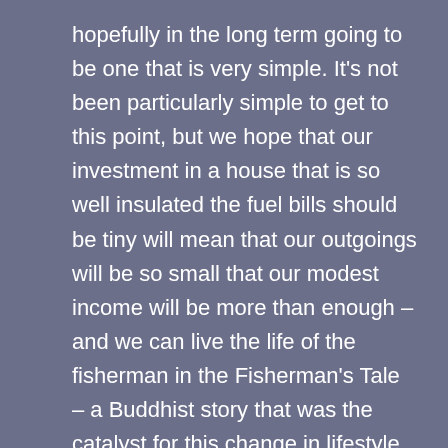hopefully in the long term going to be one that is very simple. It's not been particularly simple to get to this point, but we hope that our investment in a house that is so well insulated the fuel bills should be tiny will mean that our outgoings will be so small that our modest income will be more than enough – and we can live the life of the fisherman in the Fisherman's Tale – a Buddhist story that was the catalyst for this change in lifestyle – the point when we decided to stop chasing our tails trying to earn enough to support a lifestyle that we didn't enjoy to the extent that we needed even more money to try to escape it at weekends.